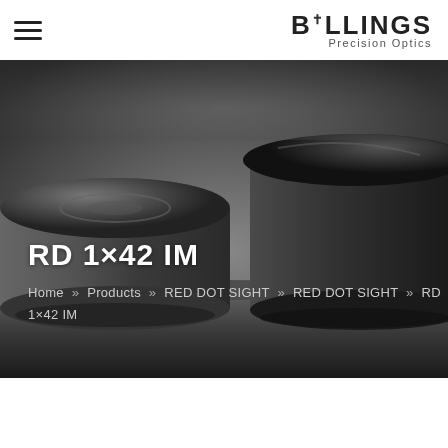[Figure (logo): Billings Precision Optics logo with cross/dagger above the i, top right of nav bar]
[Figure (photo): Black and white close-up photo of two cylindrical optic/scope lens caps on a dark reflective surface]
RD 1×42 IM
Home » Products » RED DOT SIGHT » RED DOT SIGHT » RD 1×42 IM